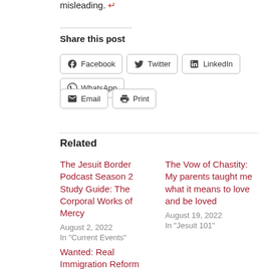misleading. ↵
Share this post
[Figure (other): Social share buttons: Facebook, Twitter, LinkedIn, WhatsApp, Email, Print]
Related
The Jesuit Border Podcast Season 2 Study Guide: The Corporal Works of Mercy
August 2, 2022
In "Current Events"
The Vow of Chastity: My parents taught me what it means to love and be loved
August 19, 2022
In "Jesuit 101"
Wanted: Real Immigration Reform